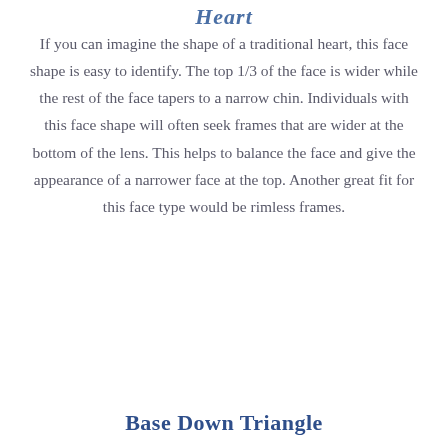Heart
If you can imagine the shape of a traditional heart, this face shape is easy to identify. The top 1/3 of the face is wider while the rest of the face tapers to a narrow chin. Individuals with this face shape will often seek frames that are wider at the bottom of the lens. This helps to balance the face and give the appearance of a narrower face at the top. Another great fit for this face type would be rimless frames.
Base Down Triangle